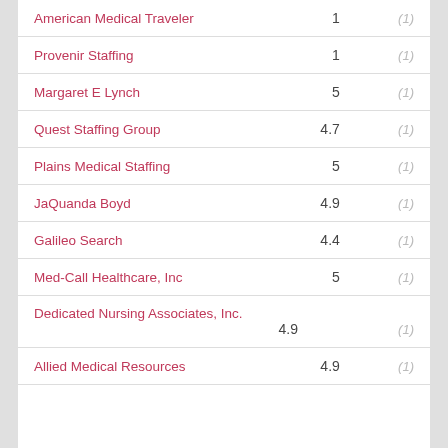| Name | Rating | Count |
| --- | --- | --- |
| American Medical Traveler | 1 | (1) |
| Provenir Staffing | 1 | (1) |
| Margaret E Lynch | 5 | (1) |
| Quest Staffing Group | 4.7 | (1) |
| Plains Medical Staffing | 5 | (1) |
| JaQuanda Boyd | 4.9 | (1) |
| Galileo Search | 4.4 | (1) |
| Med-Call Healthcare, Inc | 5 | (1) |
| Dedicated Nursing Associates, Inc. | 4.9 | (1) |
| Allied Medical Resources | 4.9 | (1) |